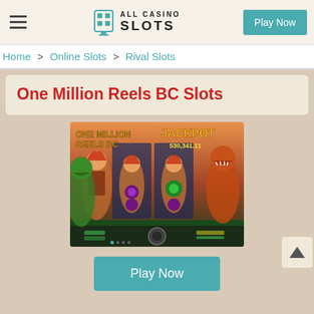ALL CASINO SLOTS | Play Now
Home > Online Slots > Rival Slots
One Million Reels BC Slots
[Figure (screenshot): Screenshot of the One Million Reels BC slot game showing the game interface with JACKPOT 530,341.11 displayed, featuring prehistoric characters, dinosaurs, and gem symbols on the reels.]
Play Now